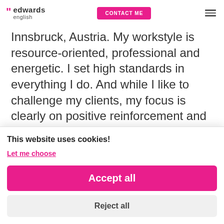edwards english — CONTACT ME
Innsbruck, Austria. My workstyle is resource-oriented, professional and energetic. I set high standards in everything I do. And while I like to challenge my clients, my focus is clearly on positive reinforcement and encouragement. Reflection and self-
This website uses cookies!
Let me choose
Accept all
Reject all